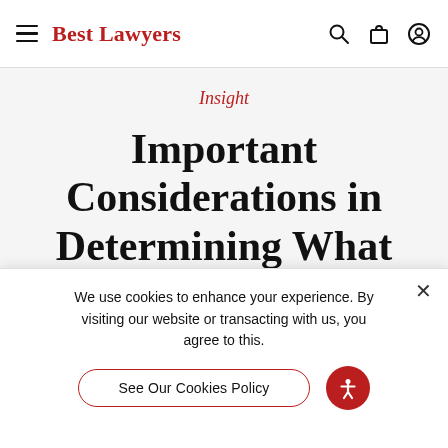Best Lawyers
Insight
Important Considerations in Determining What
We use cookies to enhance your experience. By visiting our website or transacting with us, you agree to this.
See Our Cookies Policy